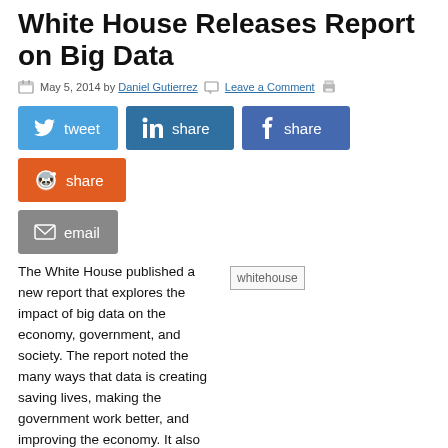White House Releases Report on Big Data
May 5, 2014 by Daniel Gutierrez  Leave a Comment
[Figure (infographic): Social share buttons: tweet (Twitter), share (LinkedIn), share (Facebook), share (Reddit), email]
[Figure (photo): whitehouse image placeholder]
The White House published a new report that explores the impact of big data on the economy, government, and society. The report noted the many ways that data is creating saving lives, making the government work better, and improving the economy. It also outlined a series of recommendations to promote privacy, fairness, and non-discrimination.
In January, President Obama asked John Podesta to Survey the the